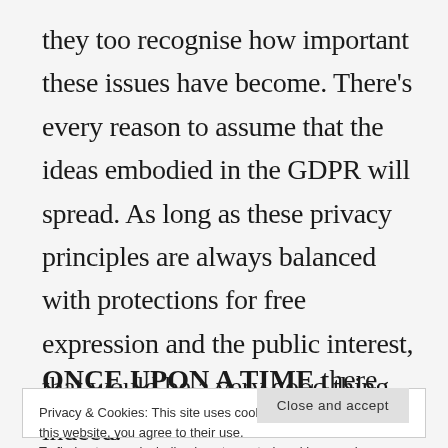they too recognise how important these issues have become. There's every reason to assume that the ideas embodied in the GDPR will spread. As long as these privacy principles are always balanced with protections for free expression and the public interest, that would be a very good thing indeed.
ONCE UPON A TIME there was a global push to
Privacy & Cookies: This site uses cookies. By continuing to use this website, you agree to their use.
To find out more, including how to control cookies, see here: Cookie Policy